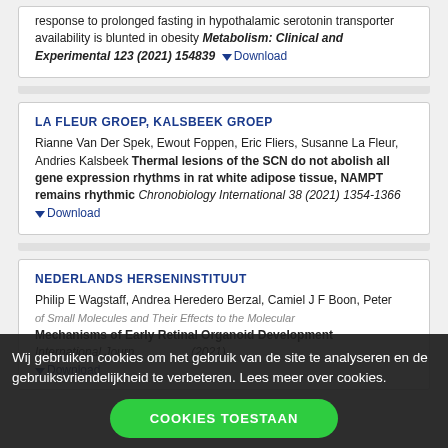response to prolonged fasting in hypothalamic serotonin transporter availability is blunted in obesity Metabolism: Clinical and Experimental 123 (2021) 154839 Download
LA FLEUR GROEP, KALSBEEK GROEP
Rianne Van Der Spek, Ewout Foppen, Eric Fliers, Susanne La Fleur, Andries Kalsbeek Thermal lesions of the SCN do not abolish all gene expression rhythms in rat white adipose tissue, NAMPT remains rhythmic Chronobiology International 38 (2021) 1354-1366 Download
NEDERLANDS HERSENINSTITUUT
Philip E Wagstaff, Andrea Heredero Berzal, Camiel J F Boon, Peter ... of Small Molecules and Their Effects to the Molecular Mechanisms of Early Retinal Organoid Development International Journ... (2021) Download
Wij gebruiken cookies om het gebruik van de site te analyseren en de gebruiksvriendelijkheid te verbeteren. Lees meer over cookies.